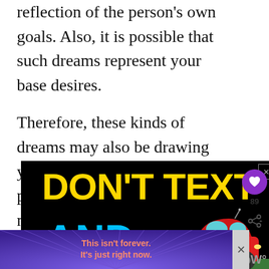reflection of the person's own goals. Also, it is possible that such dreams represent your base desires.
Therefore, these kinds of dreams may also be drawing your attention towards a particular aspect of your own nature.
[Figure (illustration): Advertisement banner on black background with yellow bold text 'DON'T TEXT' and cyan bold text 'AND' with a cartoon red car graphic]
[Figure (illustration): Purple advertisement banner with rays design and orange/pink text: 'This isn't forever. It's just right now.']